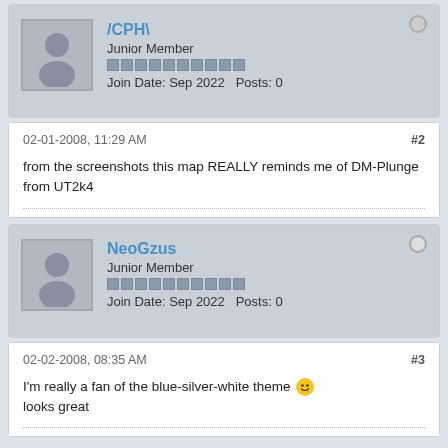[Figure (other): Forum post by /CPH\ with avatar, username, Junior Member rank, rep bar, Join Date Sep 2022, Posts 0]
02-01-2008, 11:29 AM
#2
from the screenshots this map REALLY reminds me of DM-Plunge from UT2k4
[Figure (other): Forum post by NeoGzus with avatar, username, Junior Member rank, rep bar, Join Date Sep 2022, Posts 0]
02-02-2008, 08:35 AM
#3
I'm really a fan of the blue-silver-white theme :) looks great